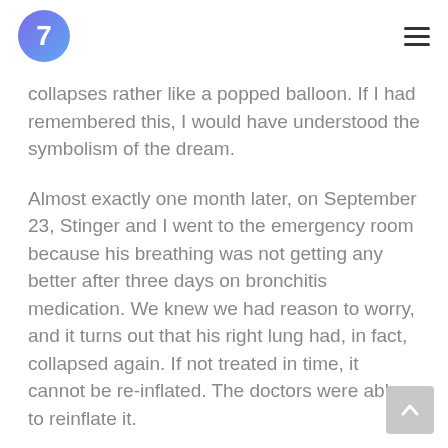7
collapses rather like a popped balloon. If I had remembered this, I would have understood the symbolism of the dream.
Almost exactly one month later, on September 23, Stinger and I went to the emergency room because his breathing was not getting any better after three days on bronchitis medication. We knew we had reason to worry, and it turns out that his right lung had, in fact, collapsed again. If not treated in time, it cannot be re-inflated. The doctors were able to reinflate it.
In my dream, the goose that I perceived as being